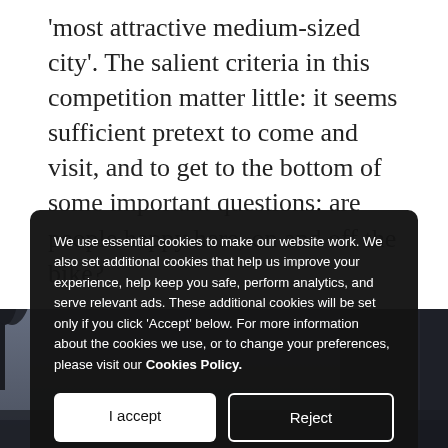'most attractive medium-sized city'. The salient criteria in this competition matter little: it seems sufficient pretext to come and visit, and to get to the bottom of some important questions: are people happy here, on and off the bike?
[Figure (photo): A dark urban cityscape silhouette photo used as background behind a cookie consent overlay]
We use essential cookies to make our website work. We also set additional cookies that help us improve your experience, help keep you safe, perform analytics, and serve relevant ads. These additional cookies will be set only if you click 'Accept' below. For more information about the cookies we use, or to change your preferences, please visit our Cookies Policy.